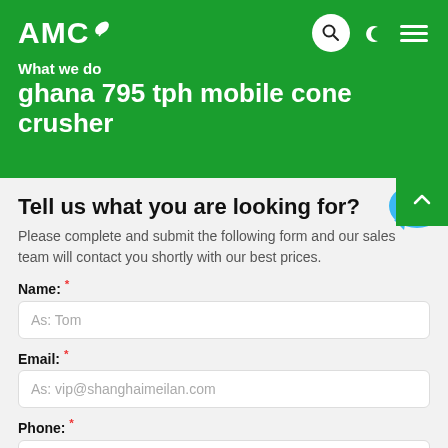AMC
What we do
ghana 795 tph mobile cone crusher
Tell us what you are looking for?
Please complete and submit the following form and our sales team will contact you shortly with our best prices.
Name: *
As: Tom
Email: *
As: vip@shanghaimeilan.com
Phone: *
With Country Code